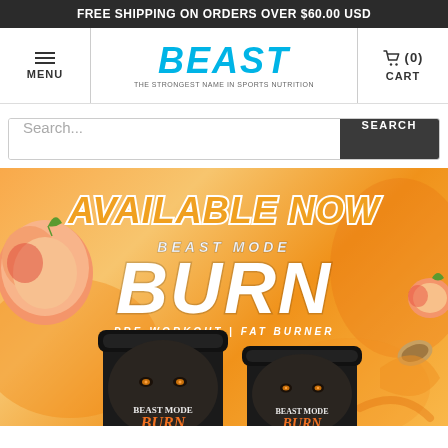FREE SHIPPING ON ORDERS OVER $60.00 USD
[Figure (logo): Beast Sports Nutrition logo - BEAST in bold italic cyan/blue text with tagline 'THE STRONGEST NAME IN SPORTS NUTRITION']
≡ MENU
🛒 (0) CART
Search...
SEARCH
[Figure (photo): Promotional banner for Beast Mode BURN pre-workout fat burner supplement. Orange/peach colored background with peach fruits. Text reads: AVAILABLE NOW / BEAST MODE / BURN / PRE-WORKOUT | FAT BURNER. Two black supplement tubs with gorilla face design labeled BEAST MODE BURN are shown at the bottom.]